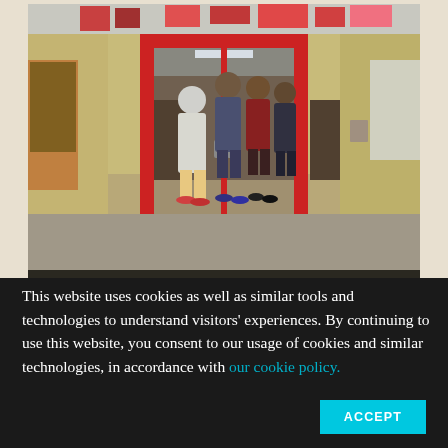[Figure (photo): Students walk through a red-framed double doorway in a school hallway with yellow cinder-block walls. Colorful posters hang above the doors. The hallway has trophy cases visible through the glass doors.]
Students walk to lunch at Holmes County Central High School in Lexington, Miss. Enrollment at the school swelled after the county consolidated its four high schools into one to save money. Credit: Rory Doyle for The Hechinger
This website uses cookies as well as similar tools and technologies to understand visitors' experiences. By continuing to use this website, you consent to our usage of cookies and similar technologies, in accordance with our cookie policy.